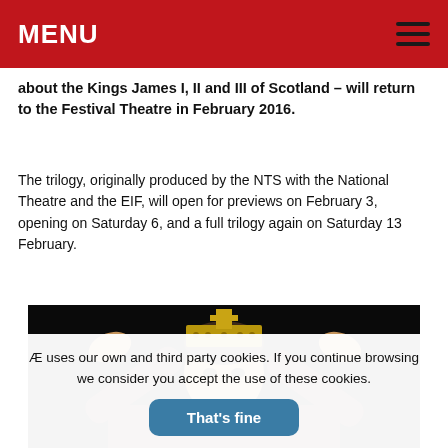MENU
about the Kings James I, II and III of Scotland – will return to the Festival Theatre in February 2016.
The trilogy, originally produced by the NTS with the National Theatre and the EIF, will open for previews on February 3, opening on Saturday 6, and a full trilogy again on Saturday 13 February.
[Figure (photo): A man in a dark leather jacket placing a gold crown with a cross on top onto his head, against a dark background.]
Æ uses our own and third party cookies. If you continue browsing we consider you accept the use of these cookies.
That's fine